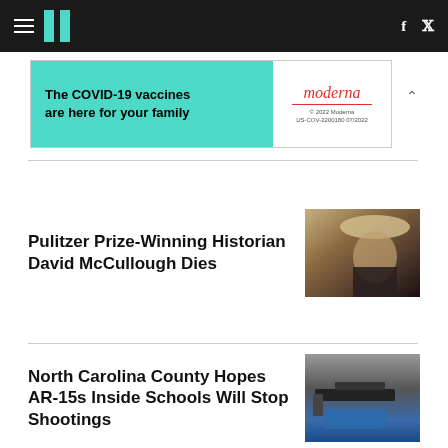HuffPost navigation bar with hamburger menu, logo, Facebook and Twitter icons
[Figure (other): Moderna COVID-19 vaccine advertisement banner: 'The COVID-19 vaccines are here for your family' with Moderna logo]
Pulitzer Prize-Winning Historian David McCullough Dies
[Figure (photo): Elderly man in suit tipping a straw hat, looking downward]
North Carolina County Hopes AR-15s Inside Schools Will Stop Shootings
[Figure (photo): Close-up of hands holding an AR-15 style rifle with mounted accessories]